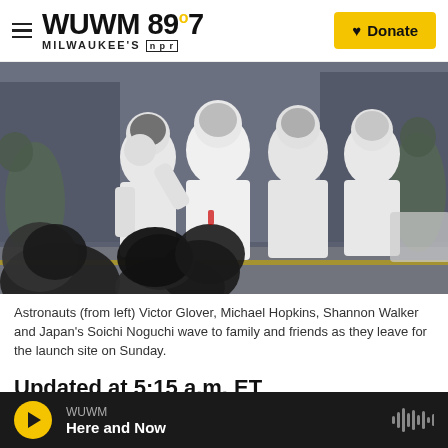WUWM 89.7 MILWAUKEE'S NPR | Donate
[Figure (photo): Four astronauts in white SpaceX spacesuits walking together, waving to a crowd in the foreground; military personnel visible in background]
Astronauts (from left) Victor Glover, Michael Hopkins, Shannon Walker and Japan's Soichi Noguchi wave to family and friends as they leave for the launch site on Sunday.
Updated at 5:15 a.m. ET
WUWM | Here and Now